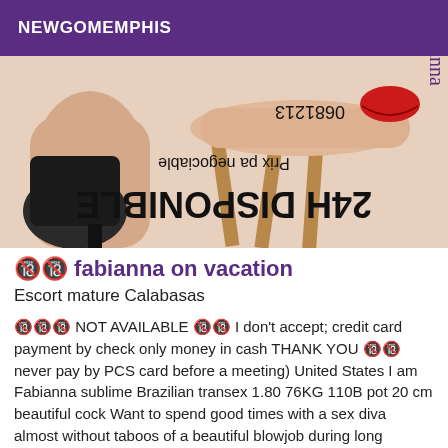NEWGOMEMPHIS
[Figure (photo): Promotional escort photo showing a person in a high heel boot with mirrored/upside-down text reading '24H DISPONIBLE', 'Prix pa negociable', a phone number, and a red lips kiss mark graphic.]
🔞 fabianna on vacation
Escort mature Calabasas
🔞🔞🔞 NOT AVAILABLE 🔞🔞 I don't accept; credit card payment by check only money in cash THANK YOU 🔞🔞 never pay by PCS card before a meeting) United States I am Fabianna sublime Brazilian transex 1.80 76KG 110B pot 20 cm beautiful cock Want to spend good times with a sex diva almost without taboos of a beautiful blowjob during long foreplay and naughty